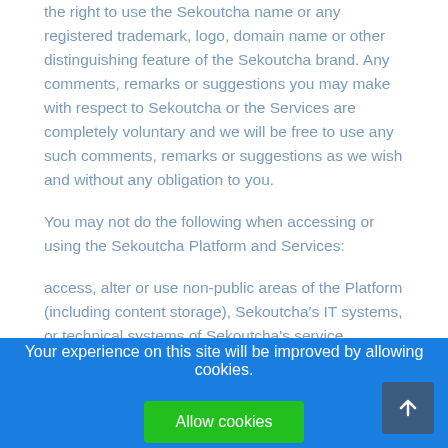the right to use the Sekoutcha name or any registered trademark, logo, domain name or other distinguishing feature of the Sekoutcha brand. Any comments, remarks or suggestions you may make with respect to Sekoutcha or the Services are completely voluntary and we will be free to use any such comments, remarks or suggestions as we wish and without any obligation to you.
You may not do the following when accessing or using the Sekoutcha Platform and Services:
access, alter or use non-public areas of the Platform (including content storage), Sekoutcha's IT systems, or technical systems of Sekoutcha's service providers.
Your experience on this site will be improved by allowing cookies.